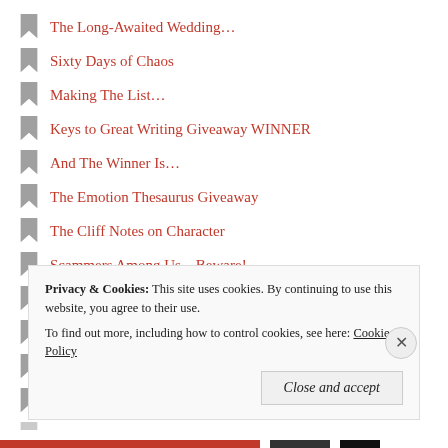The Long-Awaited Wedding...
Sixty Days of Chaos
Making The List...
Keys to Great Writing Giveaway WINNER
And The Winner Is...
The Emotion Thesaurus Giveaway
The Cliff Notes on Character
Scammers Among Us – Beware!
Eat, Drink, and Be From Mississippi, by Nanci Kincaid
Writing, Tattoos, and Inhibitions...
Dead Enemies
Finders Keepers, by Stephen King
Fun Writer's Quiz – Test Your Knowledge
Privacy & Cookies: This site uses cookies. By continuing to use this website, you agree to their use.
To find out more, including how to control cookies, see here: Cookie Policy
Close and accept